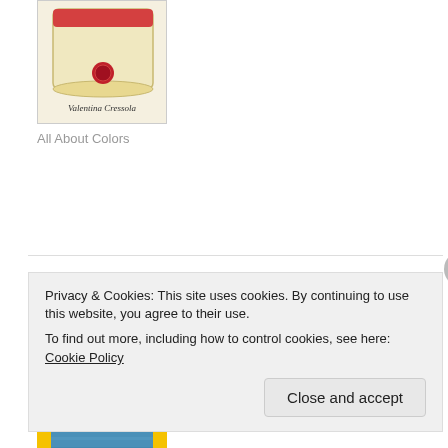[Figure (illustration): Book cover thumbnail for 'All About Colors' by Valentina Cressola — scroll/parchment with a red seal, on cream background.]
All About Colors
©The Road To Top Of The World
[Figure (illustration): Book cover for 'The Road To Top Of The World' — yellow frame/door design with a harbor city photo and title text in black.]
Privacy & Cookies: This site uses cookies. By continuing to use this website, you agree to their use.
To find out more, including how to control cookies, see here: Cookie Policy